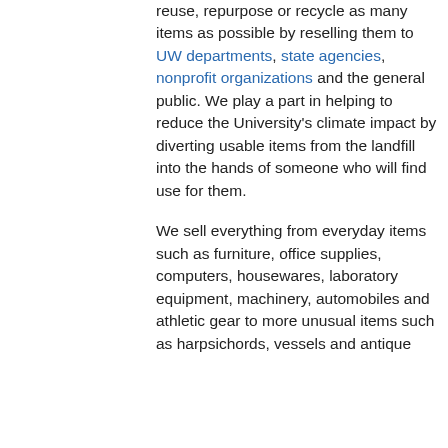reuse, repurpose or recycle as many items as possible by reselling them to UW departments, state agencies, nonprofit organizations and the general public. We play a part in helping to reduce the University's climate impact by diverting usable items from the landfill into the hands of someone who will find use for them.
We sell everything from everyday items such as furniture, office supplies, computers, housewares, laboratory equipment, machinery, automobiles and athletic gear to more unusual items such as harpsichords, vessels and antique ...